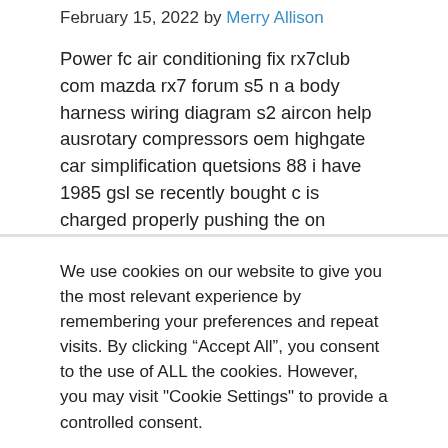February 15, 2022 by Merry Allison
Power fc air conditioning fix rx7club com mazda rx7 forum s5 n a body harness wiring diagram s2 aircon help ausrotary compressors oem highgate car simplification quetsions 88 i have 1985 gsl se recently bought c is charged properly pushing the on
We use cookies on our website to give you the most relevant experience by remembering your preferences and repeat visits. By clicking “Accept All”, you consent to the use of ALL the cookies. However, you may visit "Cookie Settings" to provide a controlled consent.